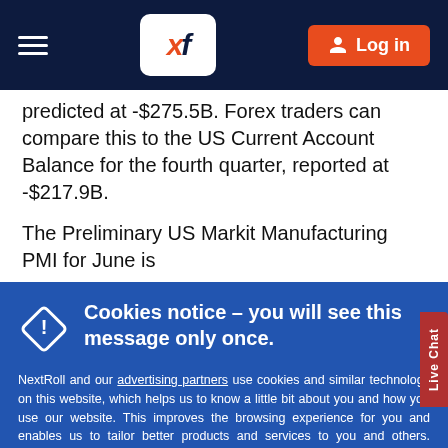XF logo header with hamburger menu and Log in button
predicted at -$275.5B. Forex traders can compare this to the US Current Account Balance for the fourth quarter, reported at -$217.9B.
The Preliminary US Markit Manufacturing PMI for June is
Cookies notice – you will see this message only once.
NextRoll and our advertising partners use cookies and similar technology on this website, which helps us to know a little bit about you and how you use our website. This improves the browsing experience for you and enables us to tailor better products and services to you and others. Cookies are stored locally on your computer or mobile device.

To accept cookies continue browsing as normal or go to the https://paxforex.org/privacy_policy for more information.
Got it!